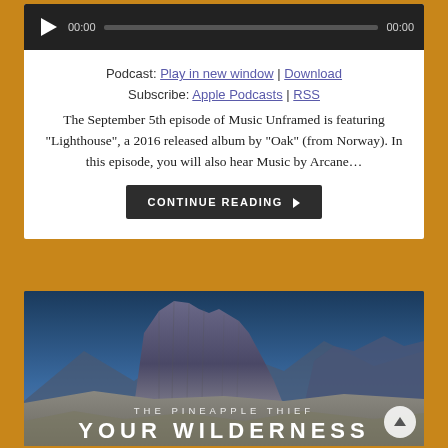[Figure (screenshot): Audio player bar with play button, time 00:00, progress bar, and end time 00:00 on dark background]
Podcast: Play in new window | Download
Subscribe: Apple Podcasts | RSS
The September 5th episode of Music Unframed is featuring "Lighthouse", a 2016 released album by "Oak" (from Norway). In this episode, you will also hear Music by Arcane…
CONTINUE READING ▶
[Figure (photo): Mountain landscape with rocky butte against blue sky; overlay text reads THE PINEAPPLE THIEF and YOUR WILDERNESS at the bottom]